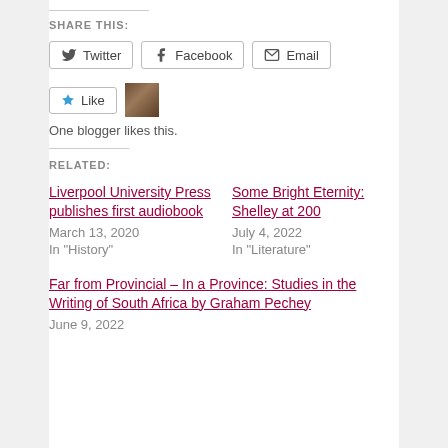SHARE THIS:
Twitter | Facebook | Email (share buttons)
Like   One blogger likes this.
RELATED:
Liverpool University Press publishes first audiobook
March 13, 2020
In "History"
Some Bright Eternity: Shelley at 200
July 4, 2022
In "Literature"
Far from Provincial – In a Province: Studies in the Writing of South Africa by Graham Pechey
June 9, 2022